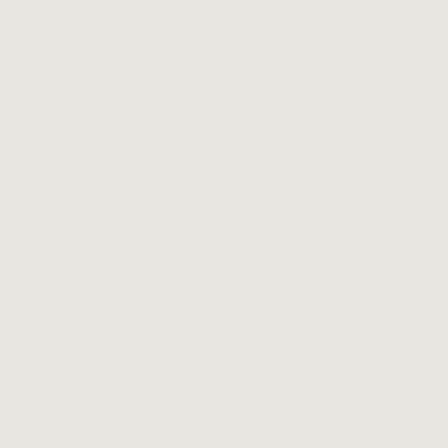two way com cha bet gov and pub In pub rela the eme of soc me cha the tra inst of gov pub rela Res to the dev of info